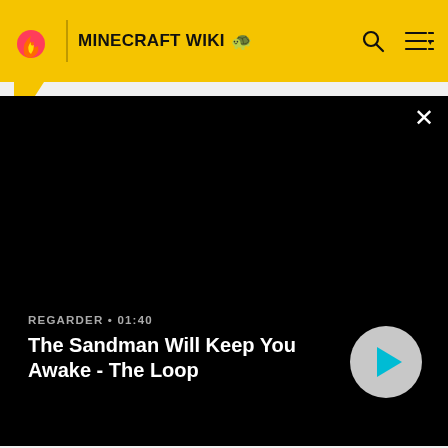MINECRAFT WIKI
[Figure (screenshot): Video overlay panel on dark background showing a video titled 'The Sandman Will Keep You Awake - The Loop' with a play button and watch time 01:40]
[Figure (photo): Portrait photo of a person wearing a dark jacket against an outdoor background]
|  |  |
| --- | --- |
| Nom réel | Vu Bui |